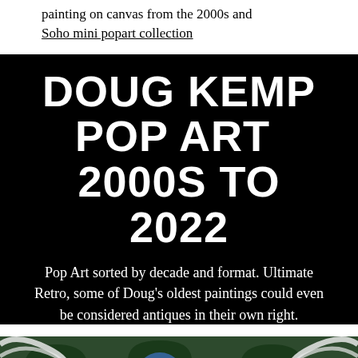painting on canvas from the 2000s and Soho mini popart collection
DOUG KEMP POP ART  2000S TO 2022
Pop Art sorted by decade and format. Ultimate Retro, some of Doug’s oldest paintings could even be considered antiques in their own right.
[Figure (photo): Painting showing stylized face/portrait with swirling patterns in blue, green and white, pop art style]